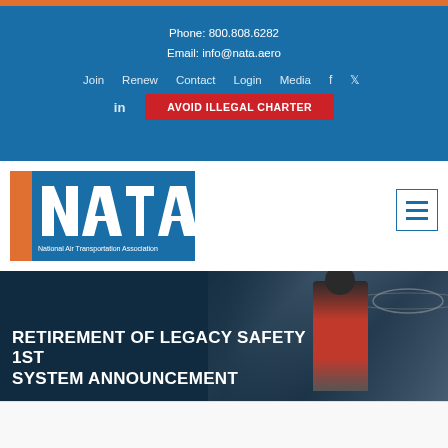Phone: 800.808.6282
Email: info@nata.aero
Join  Renew  Contact  Login  Media  [Facebook] [Twitter]
in  AVOID ILLEGAL CHARTER
[Figure (logo): NATA - National Air Transportation Association logo: orange bar on left, white NATA letters on blue background]
RETIREMENT OF LEGACY SAFETY 1ST SYSTEM ANNOUNCEMENT
On September 10, 2020, NATA unveiled the official schedule for